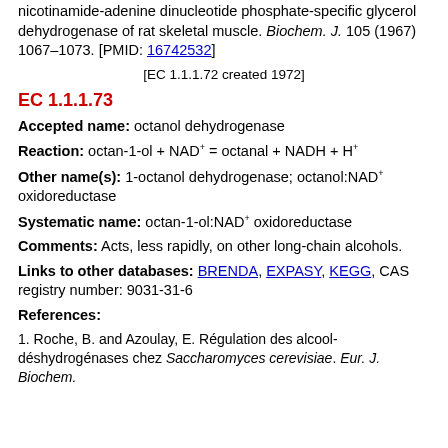nicotinamide-adenine dinucleotide phosphate-specific glycerol dehydrogenase of rat skeletal muscle. Biochem. J. 105 (1967) 1067–1073. [PMID: 16742532]
[EC 1.1.1.72 created 1972]
EC 1.1.1.73
Accepted name: octanol dehydrogenase
Reaction: octan-1-ol + NAD+ = octanal + NADH + H+
Other name(s): 1-octanol dehydrogenase; octanol:NAD+ oxidoreductase
Systematic name: octan-1-ol:NAD+ oxidoreductase
Comments: Acts, less rapidly, on other long-chain alcohols.
Links to other databases: BRENDA, EXPASY, KEGG, CAS registry number: 9031-31-6
References:
1. Roche, B. and Azoulay, E. Régulation des alcool-déshydrogénases chez Saccharomyces cerevisiae. Eur. J. Biochem. 1 (1969) 459–484. [PMID: 4395449]